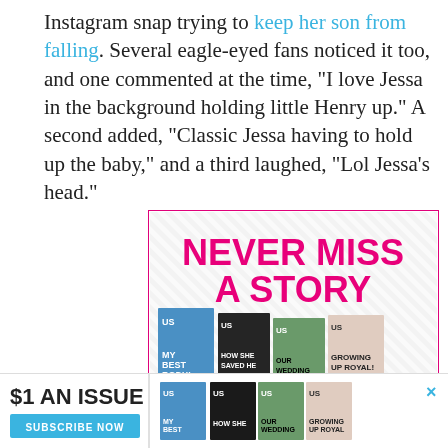Instagram snap trying to keep her son from falling. Several eagle-eyed fans noticed it too, and one commented at the time, "I love Jessa in the background holding little Henry up." A second added, "Classic Jessa having to hold up the baby," and a third laughed, "Lol Jessa's head."
[Figure (infographic): Advertisement for US Weekly magazine subscription with hot pink text 'NEVER MISS A STORY', showing multiple magazine covers and a blue 'SUBSCRIBE NOW' button]
[Figure (infographic): Bottom banner advertisement for US Weekly magazine showing '$1 AN ISSUE' with magazine covers and 'SUBSCRIBE NOW' button]